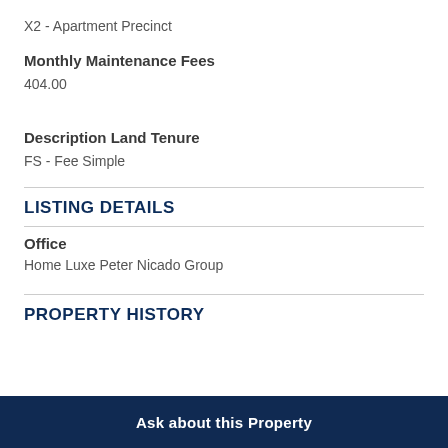X2 - Apartment Precinct
Monthly Maintenance Fees
404.00
Description Land Tenure
FS - Fee Simple
LISTING DETAILS
Office
Home Luxe Peter Nicado Group
PROPERTY HISTORY
Ask about this Property